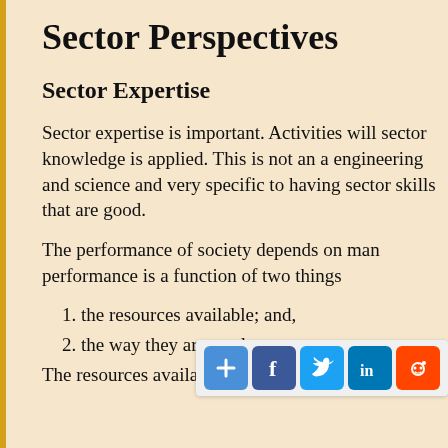Sector Perspectives
Sector Expertise
Sector expertise is important. Activities will sector knowledge is applied. This is not an a engineering and science and very specific to having sector skills that are good.
The performance of society depends on man performance is a function of two things
1. the resources available; and,
2. the way they are used.
The resources availabl